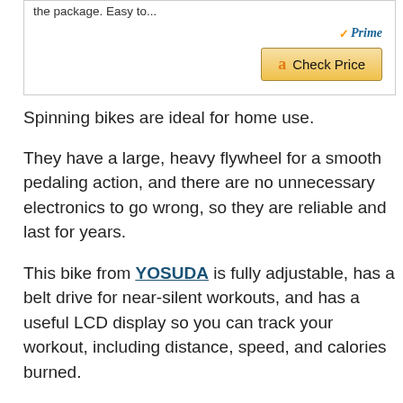the package. Easy to...
[Figure (other): Amazon Prime logo and Check Price button]
Spinning bikes are ideal for home use.
They have a large, heavy flywheel for a smooth pedaling action, and there are no unnecessary electronics to go wrong, so they are reliable and last for years.
This bike from YOSUDA is fully adjustable, has a belt drive for near-silent workouts, and has a useful LCD display so you can track your workout, including distance, speed, and calories burned.